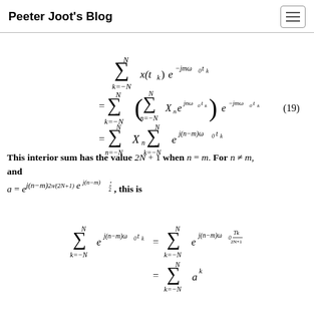Peeter Joot's Blog
This interior sum has the value 2N + 1 when n = m. For n ≠ m, and a = e^{j(n-m) 2π/(2N+1)}, this is